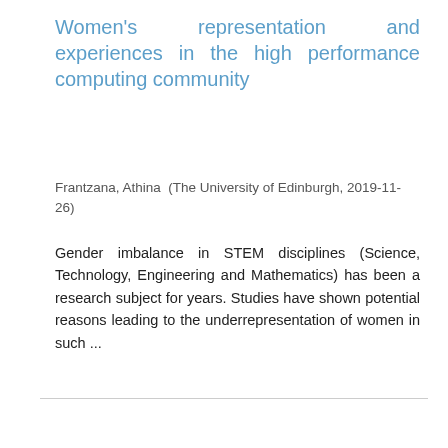Women's representation and experiences in the high performance computing community
Frantzana, Athina (The University of Edinburgh, 2019-11-26)
Gender imbalance in STEM disciplines (Science, Technology, Engineering and Mathematics) has been a research subject for years. Studies have shown potential reasons leading to the underrepresentation of women in such ...
[Figure (logo): L&UC is logo in red and navy blue]
Privacy & Cookies
Takedown Policy
Accessibility
Contact
RSS Feeds